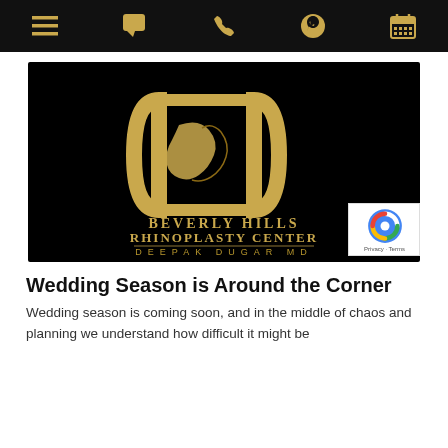Navigation bar with menu, chat, phone, whatsapp, and calendar icons
[Figure (logo): Beverly Hills Rhinoplasty Center logo — gold stylized DC monogram on black background with text BEVERLY HILLS RHINOPLASTY CENTER and DEEPAK DUGAR MD]
Wedding Season is Around the Corner
Wedding season is coming soon, and in the middle of chaos and planning we understand how difficult it might be